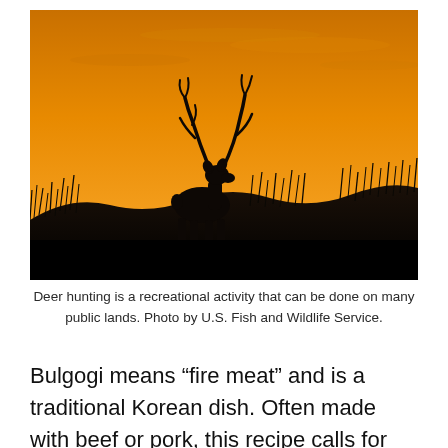[Figure (photo): Silhouette of a deer with large antlers standing on a hillside covered with wild grasses, set against a vivid orange sunset sky with subtle cloud streaks.]
Deer hunting is a recreational activity that can be done on many public lands. Photo by U.S. Fish and Wildlife Service.
Bulgogi means “fire meat” and is a traditional Korean dish. Often made with beef or pork, this recipe calls for venison. Wrapped in lettuce or